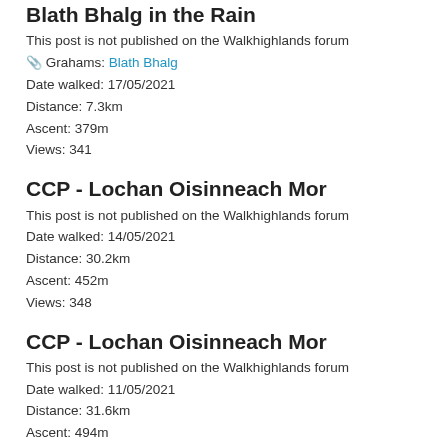Blath Bhalg in the Rain
This post is not published on the Walkhighlands forum
📎 Grahams: Blath Bhalg
Date walked: 17/05/2021
Distance: 7.3km
Ascent: 379m
Views: 341
CCP - Lochan Oisinneach Mor
This post is not published on the Walkhighlands forum
Date walked: 14/05/2021
Distance: 30.2km
Ascent: 452m
Views: 348
CCP - Lochan Oisinneach Mor
This post is not published on the Walkhighlands forum
Date walked: 11/05/2021
Distance: 31.6km
Ascent: 494m